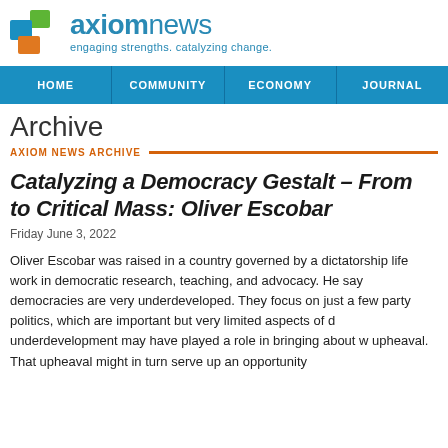[Figure (logo): Axiom News logo with coloured squares (green, blue, orange) and wordmark 'axiomnews' in blue, tagline 'engaging strengths. catalyzing change.' in blue]
HOME | COMMUNITY | ECONOMY | JOURNAL
Archive
AXIOM NEWS ARCHIVE
Catalyzing a Democracy Gestalt – From to Critical Mass: Oliver Escobar
Friday June 3, 2022
Oliver Escobar was raised in a country governed by a dictatorship life work in democratic research, teaching, and advocacy. He say democracies are very underdeveloped. They focus on just a few party politics, which are important but very limited aspects of d underdevelopment may have played a role in bringing about w upheaval. That upheaval might in turn serve up an opportunity